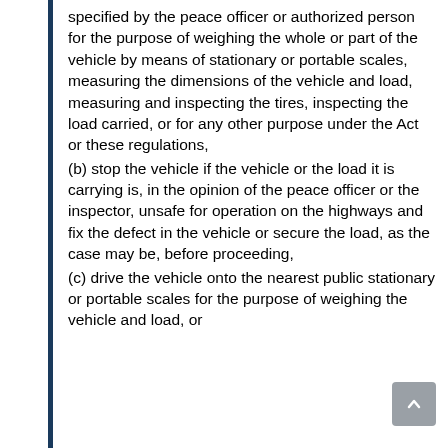specified by the peace officer or authorized person for the purpose of weighing the whole or part of the vehicle by means of stationary or portable scales, measuring the dimensions of the vehicle and load, measuring and inspecting the tires, inspecting the load carried, or for any other purpose under the Act or these regulations,
(b) stop the vehicle if the vehicle or the load it is carrying is, in the opinion of the peace officer or the inspector, unsafe for operation on the highways and fix the defect in the vehicle or secure the load, as the case may be, before proceeding,
(c) drive the vehicle onto the nearest public stationary or portable scales for the purpose of weighing the vehicle and load, or